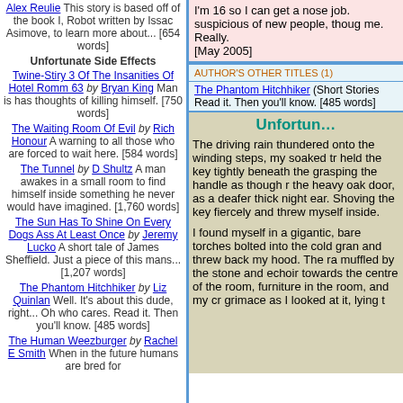Alex Reulie This story is based off of the book I, Robot written by Issac Asimove, to learn more about... [654 words]
Unfortunate Side Effects
Twine-Stiry 3 Of The Insanities Of Hotel Romm 63 by Bryan King Man is has thoughts of killing himself. [750 words]
The Waiting Room Of Evil by Rich Honour A warning to all those who are forced to wait here. [584 words]
The Tunnel by D Shultz A man awakes in a small room to find himself inside something he never would have imagined. [1,760 words]
The Sun Has To Shine On Every Dogs Ass At Least Once by Jeremy Lucko A short tale of James Sheffield. Just a piece of this mans... [1,207 words]
The Phantom Hitchhiker by Liz Quinlan Well. It's about this dude, right... Oh who cares. Read it. Then you'll know. [485 words]
The Human Weezburger by Rachel E Smith When in the future humans are bred for
I'm 16 so I can get a nose job. suspicious of new people, though me. Really. [May 2005]
AUTHOR'S OTHER TITLES (1)
The Phantom Hitchhiker (Short Stories Read it. Then you'll know. [485 words]
Unfortun…
The driving rain thundered onto the winding steps, my soaked tr held the key tightly beneath the grasping the handle as though r the heavy oak door, as a deafer thick night ear. Shoving the key fiercely and threw myself inside.
I found myself in a gigantic, bare torches bolted into the cold gran and threw back my hood. The ra muffled by the stone and echoir towards the centre of the room, furniture in the room, and my cr grimace as I looked at it, lying t